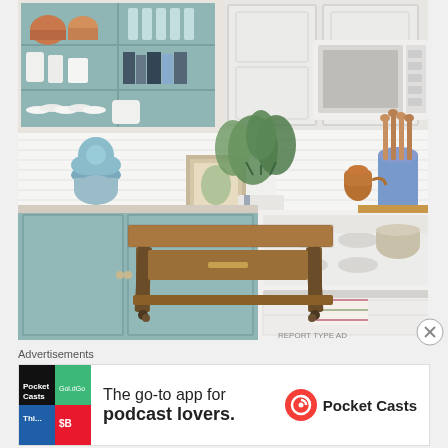[Figure (photo): Interior kitchen photo showing light blue/teal painted cabinets (upper open shelves and lower closed cabinets), white subway tile backsplash, white appliances including microwave and stove/range, a rustic wooden side table in the foreground on a pink/red Persian rug, a vase with green plants, a framed picture, kitchen utensils, and various kitchenware on shelves]
Advertisements
[Figure (infographic): Pocket Casts advertisement banner. Left side shows colorful app icon tiles (black, green, blue, red squares). Center text reads 'The go-to app for podcast lovers.' Right side shows Pocket Casts logo with orange circle icon and 'Pocket Casts' text.]